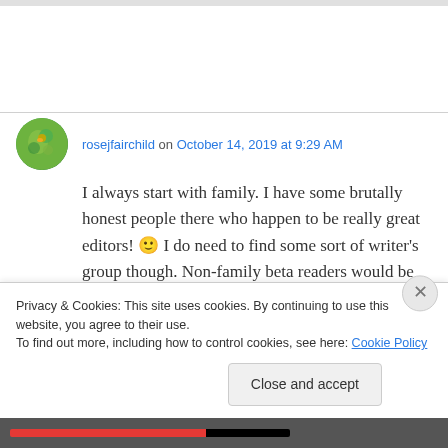rosejfairchild on October 14, 2019 at 9:29 AM
I always start with family. I have some brutally honest people there who happen to be really great editors! 🙂 I do need to find some sort of writer's group though. Non-family beta readers would be good to have, too. Thanks Andrew!
Privacy & Cookies: This site uses cookies. By continuing to use this website, you agree to their use.
To find out more, including how to control cookies, see here: Cookie Policy
Close and accept